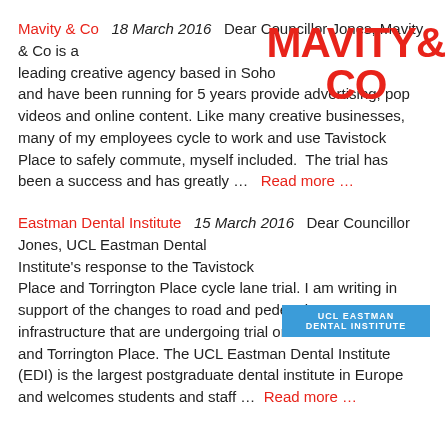Mavity & Co   18 March 2016   Dear Councillor Jones, Mavity & Co is a leading creative agency based in Soho and have been running for 5 years provide advertising, pop videos and online content. Like many creative businesses, many of my employees cycle to work and use Tavistock Place to safely commute, myself included.  The trial has been a success and has greatly …   Read more …
[Figure (logo): Mavity & Co logo in bold red text]
Eastman Dental Institute   15 March 2016   Dear Councillor Jones, UCL Eastman Dental Institute's response to the Tavistock Place and Torrington Place cycle lane trial. I am writing in support of the changes to road and pedestrian infrastructure that are undergoing trial on Tavistock Place and Torrington Place. The UCL Eastman Dental Institute (EDI) is the largest postgraduate dental institute in Europe and welcomes students and staff …   Read more …
[Figure (logo): UCL Eastman Dental Institute logo — blue rectangle with white uppercase text]